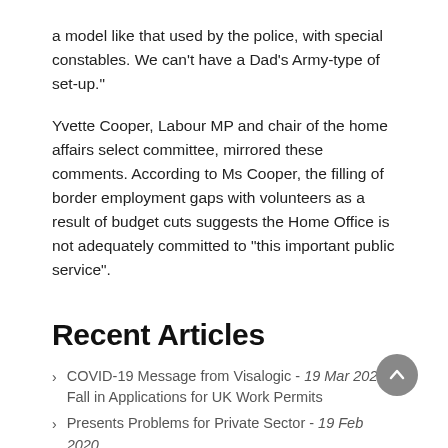a model like that used by the police, with special constables. We can’t have a Dad’s Army-type of set-up.”
Yvette Cooper, Labour MP and chair of the home affairs select committee, mirrored these comments. According to Ms Cooper, the filling of border employment gaps with volunteers as a result of budget cuts suggests the Home Office is not adequately committed to “this important public service”.
Recent Articles
COVID-19 Message from Visalogic - 19 Mar 2020 Fall in Applications for UK Work Permits
Presents Problems for Private Sector - 19 Feb 2020